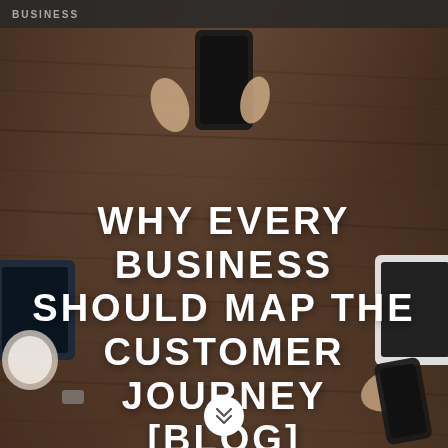[Figure (photo): Overhead/top-down photo of people sitting around a wooden table, holding smartphones and tablets, dark wood grain texture visible]
BUSINESS
WHY EVERY BUSINESS SHOULD MAP THE CUSTOMER JOURNEY [BLOG]